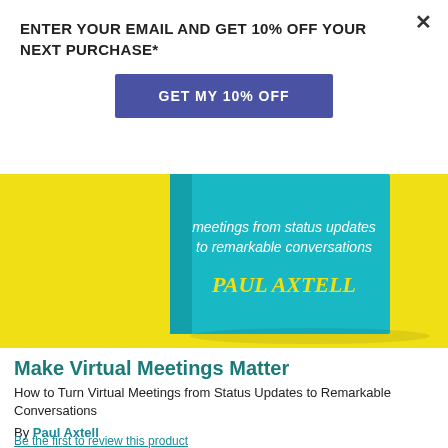ENTER YOUR EMAIL AND GET 10% OFF YOUR NEXT PURCHASE*
GET MY 10% OFF
[Figure (photo): Book cover of 'Make Virtual Meetings Matter' by Paul Axtell on a yellow background. The teal book shows text: meetings from status updates to remarkable conversations, PAUL AXTELL]
Make Virtual Meetings Matter
How to Turn Virtual Meetings from Status Updates to Remarkable Conversations
By Paul Axtell
$9.99
Published: August 2020
SKU: 9781728235837
Be the first to review this product